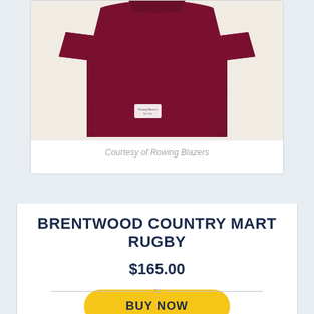[Figure (photo): Maroon/dark red long-sleeve rugby shirt laid flat on a light beige background, with a small white label tag visible near the bottom left of the shirt.]
Courtesy of Rowing Blazers
BRENTWOOD COUNTRY MART RUGBY
$165.00
BUY NOW